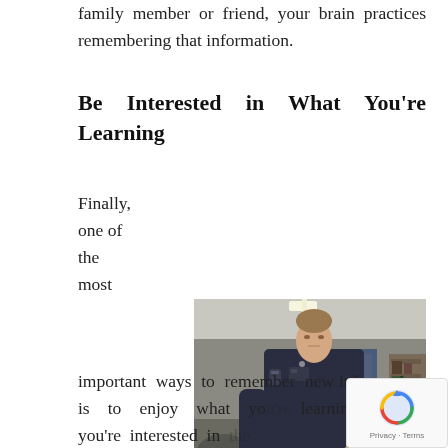family member or friend, your brain practices remembering that information.
Be Interested in What You're Learning
Finally, one of the most
[Figure (photo): A person wearing a dark blue jumpsuit/coverall working in what appears to be an industrial or workshop setting, holding an object and examining it.]
important ways to remember new information is to enjoy what you're learning. When you're interested in the